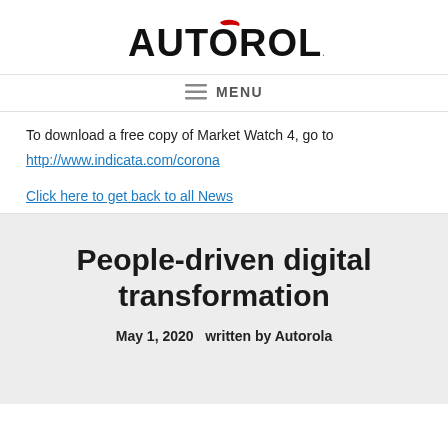[Figure (logo): Autorola logo in bold black text with a red accent graphic above the R]
≡  MENU
To download a free copy of Market Watch 4, go to
http://www.indicata.com/corona
Click here to get back to all News
People-driven digital transformation
May 1, 2020   written by Autorola